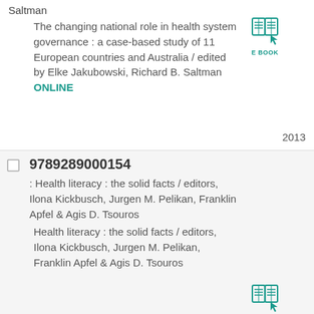Saltman
The changing national role in health system governance : a case-based study of 11 European countries and Australia / edited by Elke Jakubowski, Richard B. Saltman ONLINE
[Figure (illustration): E-book icon with open book and cursor, teal color, labeled E BOOK]
2013
9789289000154
: Health literacy : the solid facts / editors, Ilona Kickbusch, Jurgen M. Pelikan, Franklin Apfel & Agis D. Tsouros
Health literacy : the solid facts / editors, Ilona Kickbusch, Jurgen M. Pelikan, Franklin Apfel & Agis D. Tsouros
[Figure (illustration): E-book icon with open book and cursor, teal color, labeled E BOOK]
2013